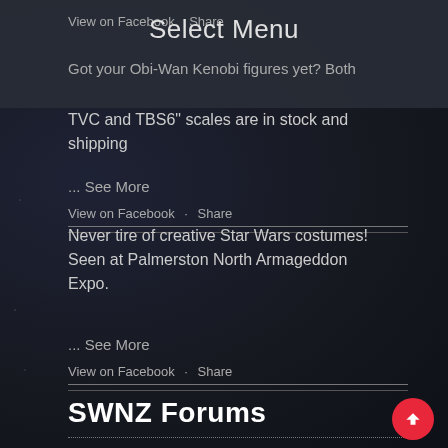Select Menu
View on Facebook · Share
Got your Obi-Wan Kenobi figures yet? Both
TVC and TBS6" scales are in stock and shipping
... See More
View on Facebook · Share
Never tire of creative Star Wars costumes! Seen at Palmerston North Armageddon Expo.
... See More
View on Facebook · Share
SWNZ Forums
Toys and Collectibles • Re: Funko Pops
I totally forgot about a box that arrived and was happy to find my Cassian Andor pop from the new sh [...]
Conventions and Events • Re: Palmerston North Armageddon Expo
Welp I didn't. Thanks to the Scary crew of S...